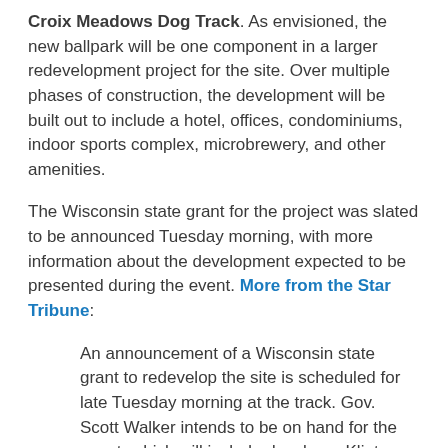Croix Meadows Dog Track. As envisioned, the new ballpark will be one component in a larger redevelopment project for the site. Over multiple phases of construction, the development will be built out to include a hotel, offices, condominiums, indoor sports complex, microbrewery, and other amenities.
The Wisconsin state grant for the project was slated to be announced Tuesday morning, with more information about the development expected to be presented during the event. More from the Star Tribune:
An announcement of a Wisconsin state grant to redevelop the site is scheduled for late Tuesday morning at the track. Gov. Scott Walker intends to be on hand for the event, which will include developer Klint Klaas providing a progress report on the Hudson Gateway project.
No revival of dog racing is on the drawing board. The old track is currently being razed in the first phase of construction to make way for a baseball stadium for the St. Croix River Hounds of the summer collegiate Northwoods League, a brewery, a 150-room hotel, restaurants, miniature